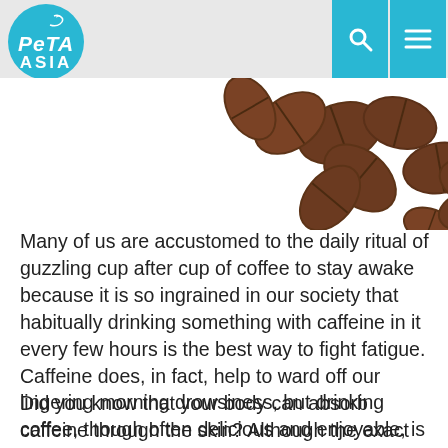PETA ASIA
[Figure (photo): Coffee beans scattered on a white background, photographed from above]
Many of us are accustomed to the daily ritual of guzzling cup after cup of coffee to stay awake because it is so ingrained in our society that habitually drinking something with caffeine in it every few hours is the best way to fight fatigue. Caffeine does, in fact, help to ward off our lingering morning drowsiness, but drinking coffee, though often delicious and enjoyable, is not the only way to get the caffeine fix that your body craves.
Did you know that your body can absorb caffeine through the skin? Although the exact concentrations of